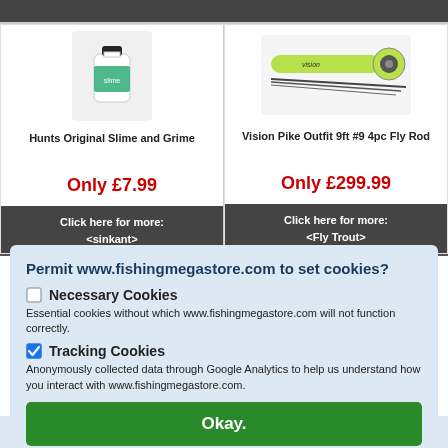[Figure (photo): Dark grey top bar strip, left half]
[Figure (photo): Dark grey top bar strip, right half]
[Figure (photo): Hunts Original Slime and Grime product - white bottle with green label and black cap]
Hunts Original Slime and Grime
Only £7.99
Click here for more:
<sinkant>
[Figure (photo): Vision Pike Outfit 9ft #9 4pc Fly Rod - yellow-green rod with reel and rod sections]
Vision Pike Outfit 9ft #9 4pc Fly Rod
Only £299.99
Click here for more:
<Fly Trout>
Permit www.fishingmegastore.com to set cookies?
Necessary Cookies
Essential cookies without which www.fishingmegastore.com will not function correctly.
Tracking Cookies
Anonymously collected data through Google Analytics to help us understand how you interact with www.fishingmegastore.com.
Okay.